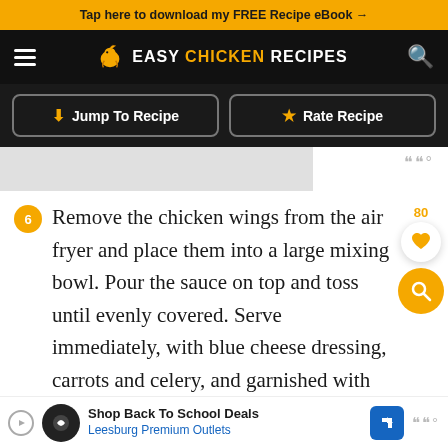Tap here to download my FREE Recipe eBook →
EASY CHICKEN RECIPES
Jump To Recipe
Rate Recipe
6 Remove the chicken wings from the air fryer and place them into a large mixing bowl. Pour the sauce on top and toss until evenly covered. Serve immediately, with blue cheese dressing, carrots and celery, and garnished with cilantro, if
Shop Back To School Deals Leesburg Premium Outlets